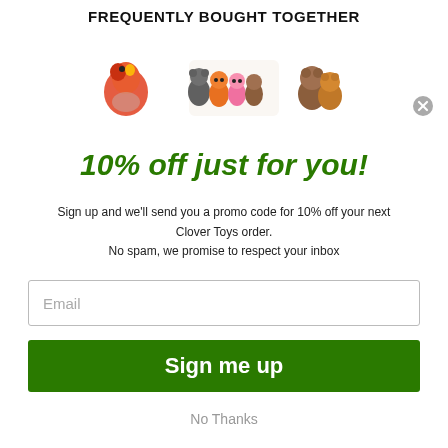FREQUENTLY BOUGHT TOGETHER
[Figure (photo): Three colorful toy figurines — a red parrot, a group of cute animal characters, and brown bear/animal toys — displayed in a row]
10% off just for you!
Sign up and we'll send you a promo code for 10% off your next Clover Toys order.
No spam, we promise to respect your inbox
Email
Sign me up
No Thanks